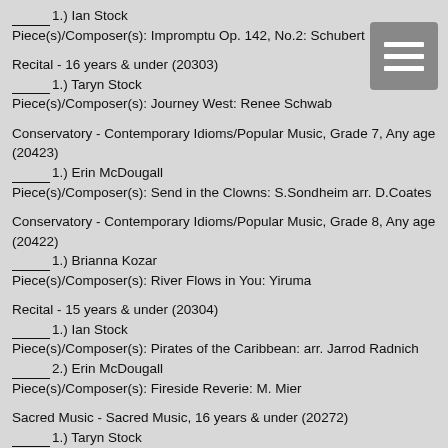_______1.) Ian Stock
Piece(s)/Composer(s): Impromptu Op. 142, No.2: Schubert
Recital - 16 years & under (20303)
______1.) Taryn Stock
Piece(s)/Composer(s): Journey West: Renee Schwab
Conservatory - Contemporary Idioms/Popular Music, Grade 7, Any age (20423)
______1.) Erin McDougall
Piece(s)/Composer(s): Send in the Clowns: S.Sondheim arr. D.Coates
Conservatory - Contemporary Idioms/Popular Music, Grade 8, Any age (20422)
______1.) Brianna Kozar
Piece(s)/Composer(s): River Flows in You: Yiruma
Recital - 15 years & under (20304)
______1.) Ian Stock
Piece(s)/Composer(s): Pirates of the Caribbean: arr. Jarrod Radnich
______2.) Erin McDougall
Piece(s)/Composer(s): Fireside Reverie: M. Mier
Sacred Music - Sacred Music, 16 years & under (20272)
______1.) Taryn Stock
Piece(s)/Composer(s): Your Grace is Enough: Matt Maher